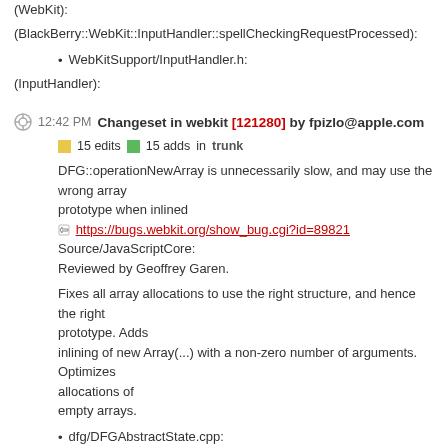(WebKit):
(BlackBerry::WebKit::InputHandler::spellCheckingRequestProcessed):
WebKitSupport/InputHandler.h:
(InputHandler):
12:42 PM Changeset in webkit [121280] by fpizlo@apple.com
15 edits   15 adds   in trunk
DFG::operationNewArray is unnecessarily slow, and may use the wrong array
prototype when inlined
https://bugs.webkit.org/show_bug.cgi?id=89821
Source/JavaScriptCore:
Reviewed by Geoffrey Garen.
Fixes all array allocations to use the right structure, and hence the right prototype. Adds
inlining of new Array(...) with a non-zero number of arguments. Optimizes allocations of
empty arrays.
dfg/DFGAbstractState.cpp:
(JSC::DFG::AbstractState::execute):
dfg/DFGByteCodeParser.cpp:
(JSC::DFG::ByteCodeParser::handleIntrinsic):